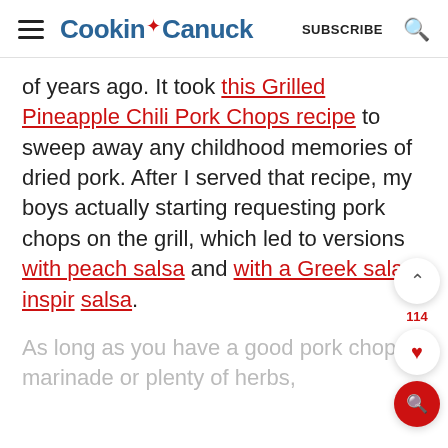Cookin Canuck | SUBSCRIBE
of years ago. It took this Grilled Pineapple Chili Pork Chops recipe to sweep away any childhood memories of dried pork. After I served that recipe, my boys actually starting requesting pork chops on the grill, which led to versions with peach salsa and with a Greek salad-inspired salsa.
As long as you have a good pork chop marinade or plenty of herbs,